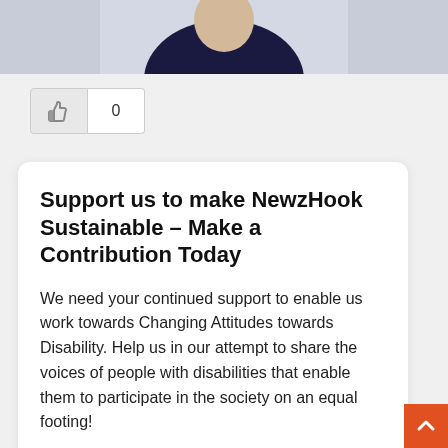[Figure (photo): Partial photo of a person wearing a dark navy top, cropped at the top of the page]
[Figure (screenshot): Like button with thumbs-up icon and count showing 0]
Support us to make NewzHook Sustainable – Make a Contribution Today
We need your continued support to enable us work towards Changing Attitudes towards Disability. Help us in our attempt to share the voices of people with disabilities that enable them to participate in the society on an equal footing!
Contribute to Newz Hook